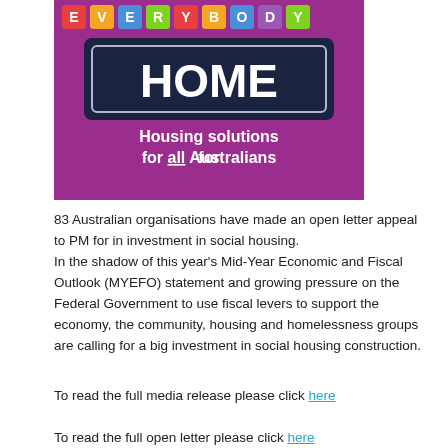[Figure (illustration): Promotional graphic with purple background. Top shows colorful letter tiles spelling 'EVERYBODY'. Below is a dark navy rectangular sign with white bold text reading 'HOME'. Below that on the purple background: white bold text 'Housing solutions for all Australians' with 'all' underlined.]
83 Australian organisations have made an open letter appeal to PM for in investment in social housing. In the shadow of this year's Mid-Year Economic and Fiscal Outlook (MYEFO) statement and growing pressure on the Federal Government to use fiscal levers to support the economy, the community, housing and homelessness groups are calling for a big investment in social housing construction.
To read the full media release please click here
To read the full open letter please click here